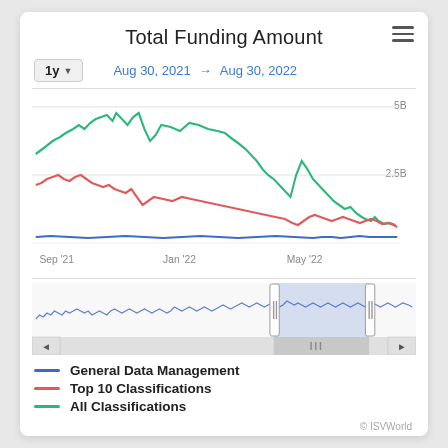Total Funding Amount
1y ▼   Aug 30, 2021 → Aug 30, 2022
[Figure (line-chart): Multi-series line chart showing total funding amount from Sep 2021 to Aug 2022. Green (All Classifications) peaks around 5B, red (Top 10) around 2.5B, blue (General Data Management) near baseline.]
[Figure (line-chart): Small navigator/overview line chart with a selected region highlighted in light blue, with drag handles and left/right scroll arrows.]
— General Data Management
— Top 10 Classifications
— All Classifications
© ISVWorld